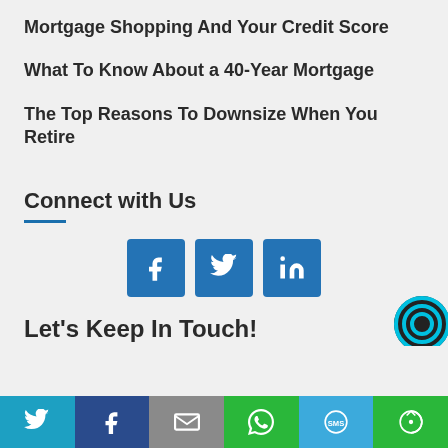Mortgage Shopping And Your Credit Score
What To Know About a 40-Year Mortgage
The Top Reasons To Downsize When You Retire
Connect with Us
[Figure (infographic): Three social media icon buttons: Facebook (f), Twitter (bird), LinkedIn (in), all in blue square buttons]
Let's Keep In Touch!
[Figure (infographic): Bottom sharing bar with icons for Twitter, Facebook, Email, WhatsApp, SMS, and More — colored bar across bottom of page]